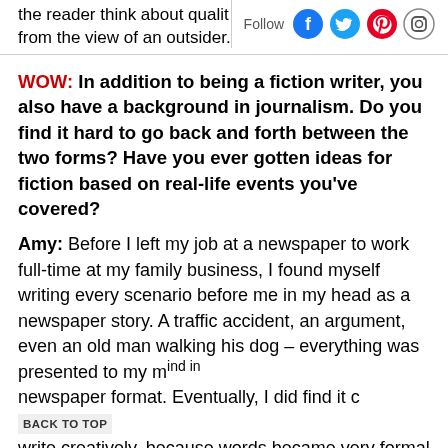the reader think about qualit from the view of an outsider.
Follow [social icons: Facebook, Twitter, Pinterest, Instagram]
WOW: In addition to being a fiction writer, you also have a background in journalism. Do you find it hard to go back and forth between the two forms? Have you ever gotten ideas for fiction based on real-life events you've covered?
Amy: Before I left my job at a newspaper to work full-time at my family business, I found myself writing every scenario before me in my head as a newspaper story. A traffic accident, an argument, even an old man walking his dog – everything was presented to my mind in newspaper format. Eventually, I did find it c BACK TO TOP write creatively, because words became very formal and